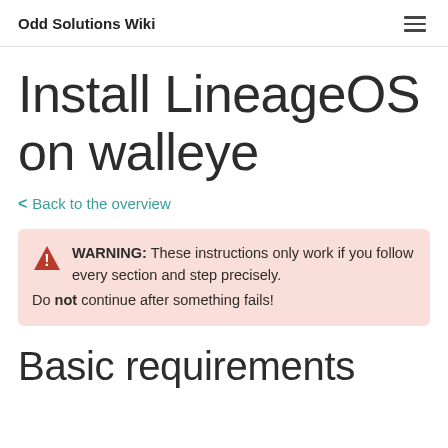Odd Solutions Wiki
Install LineageOS on walleye
< Back to the overview
WARNING: These instructions only work if you follow every section and step precisely. Do not continue after something fails!
Basic requirements